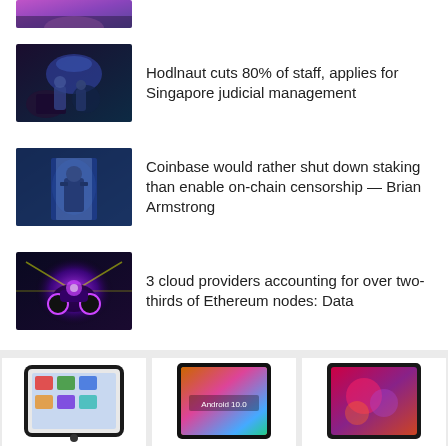[Figure (illustration): Partial image at top, colorful fantasy scene with purple/pink hues]
[Figure (illustration): Animated scene with figures in dark underwater or cave environment]
Hodlnaut cuts 80% of staff, applies for Singapore judicial management
[Figure (illustration): Illustrated figure of a man in a suit standing in a doorway with blue lighting — Brian Armstrong style]
Coinbase would rather shut down staking than enable on-chain censorship — Brian Armstrong
[Figure (illustration): Colorful digital art of a futuristic motorcycle/robot with purple and yellow rays]
3 cloud providers accounting for over two-thirds of Ethereum nodes: Data
[Figure (photo): Apple iPad tablet product photo]
[Figure (photo): Android 10.0 tablet product photo]
[Figure (photo): Tablet product photo with red/floral screen]